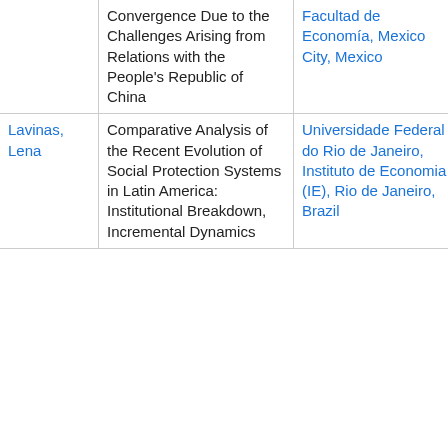|  | Title | Institution | Date |
| --- | --- | --- | --- |
|  | Convergence Due to the Challenges Arising from Relations with the People's Republic of China | Facultad de Economía, Mexico City, Mexico |  |
| Lavinas, Lena | Comparative Analysis of the Recent Evolution of Social Protection Systems in Latin America: Institutional Breakdown, Incremental Dynamics | Universidade Federal do Rio de Janeiro, Instituto de Economia (IE), Rio de Janeiro, Brazil | 09/08/
19/01/ |